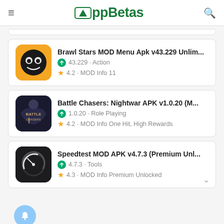AppBetas
[Figure (screenshot): Brawl Stars app icon - yellow/orange background with skull emoji character]
Brawl Stars MOD Menu Apk v43.229 Unlim...
43.229 · Action
4.2 · MOD Info 11
[Figure (screenshot): Battle Chasers: Nightwar app icon - dark gothic game art with logo]
Battle Chasers: Nightwar APK v1.0.20 (M...
1.0.20 · Role Playing
4.2 · MOD Info One Hit, High Rewards
[Figure (screenshot): Speedtest app icon - dark background with speedometer gauge icon]
Speedtest MOD APK v4.7.3 (Premium Unl...
4.7.3 · Tools
4.3 · MOD Info Premium Unlocked